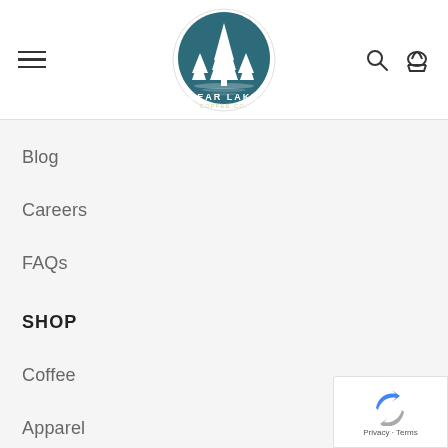[Figure (logo): Bear Lake Coffee Co. circular logo with pine trees and lake silhouette on teal background]
Blog
Careers
FAQs
SHOP
Coffee
Apparel
Brew Gear
Drinkware